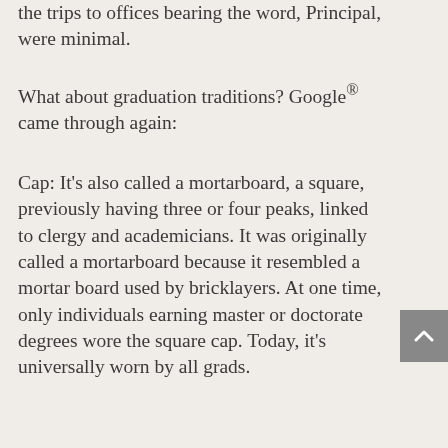the trips to offices bearing the word, Principal, were minimal.
What about graduation traditions? Google® came through again:
Cap: It's also called a mortarboard, a square, previously having three or four peaks, linked to clergy and academicians. It was originally called a mortarboard because it resembled a mortar board used by bricklayers. At one time, only individuals earning master or doctorate degrees wore the square cap. Today, it's universally worn by all grads.